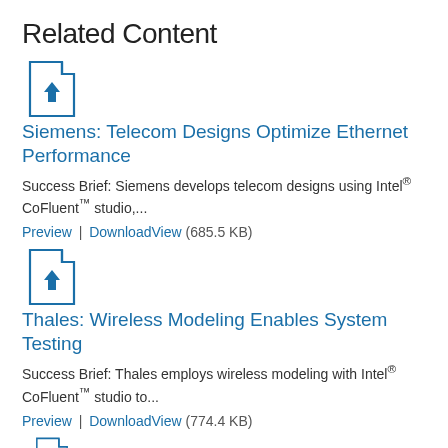Related Content
[Figure (illustration): Document icon with star bookmark - blue outline file icon]
Siemens: Telecom Designs Optimize Ethernet Performance
Success Brief: Siemens develops telecom designs using Intel® CoFluent™ studio,...
Preview | DownloadView (685.5 KB)
[Figure (illustration): Document icon with star bookmark - blue outline file icon]
Thales: Wireless Modeling Enables System Testing
Success Brief: Thales employs wireless modeling with Intel® CoFluent™ studio to...
Preview | DownloadView (774.4 KB)
[Figure (illustration): Document icon with star bookmark - blue outline file icon (partially visible)]